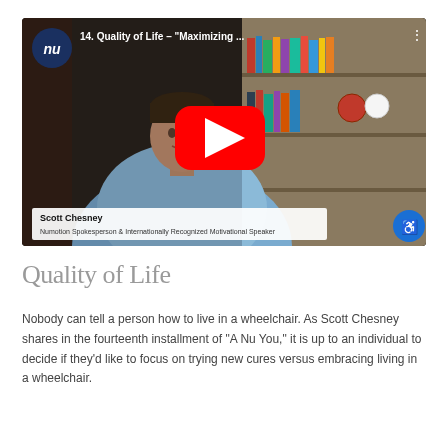[Figure (screenshot): YouTube video thumbnail showing Scott Chesney, a man in a blue shirt sitting in front of bookshelves, with a red YouTube play button overlay. Video title reads '14. Quality of Life – "Maximizing ...' Name subtitle bar shows 'Scott Chesney, Numotion Spokesperson & Internationally Recognized Motivational Speaker'. Numotion logo (blue circle with 'nu') in upper left.]
Quality of Life
Nobody can tell a person how to live in a wheelchair. As Scott Chesney shares in the fourteenth installment of “A Nu You,” it is up to an individual to decide if they’d like to focus on trying new cures versus embracing living in a wheelchair.